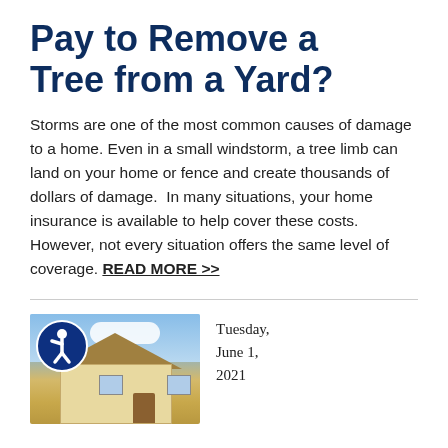Pay to Remove a Tree from a Yard?
Storms are one of the most common causes of damage to a home. Even in a small windstorm, a tree limb can land on your home or fence and create thousands of dollars of damage.  In many situations, your home insurance is available to help cover these costs. However, not every situation offers the same level of coverage. READ MORE >>
[Figure (photo): Photo of a house with blue sky and clouds, with an accessibility icon overlaid in the top-left corner]
Tuesday, June 1, 2021